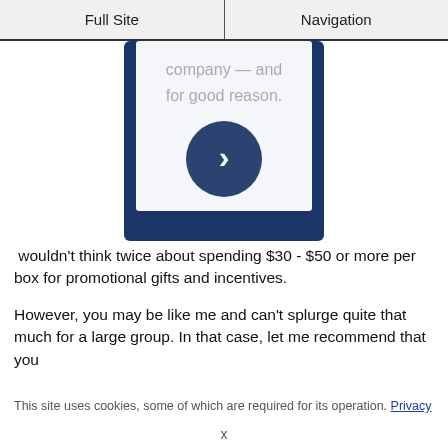Full Site | Navigation
[Figure (screenshot): A smartphone or card showing partial text 'company — and for good reason.' with a dark blue background and a circular chevron/arrow button in the center]
wouldn't think twice about spending $30 - $50 or more per box for promotional gifts and incentives.
However, you may be like me and can't splurge quite that much for a large group. In that case, let me recommend that you
This site uses cookies, some of which are required for its operation. Privacy
x